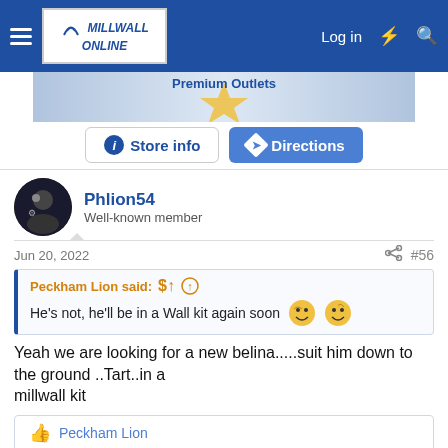Millwall Online | Log in
[Figure (screenshot): Advertisement banner for Premium Outlets with Store info and Directions buttons]
Phlion54
Well-known member
Jun 20, 2022
#56
Peckham Lion said:
He's not, he'll be in a Wall kit again soon
Yeah we are looking for a new belina.....suit him down to the ground ..Tart..in a
millwall kit
Peckham Lion